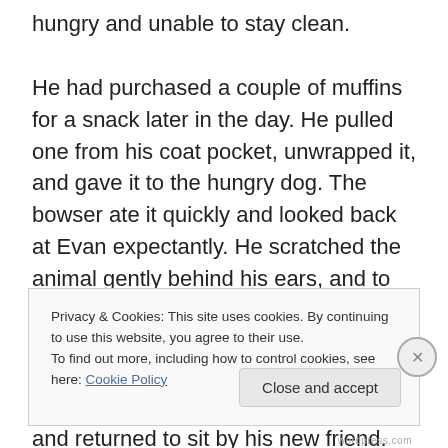hungry and unable to stay clean.

He had purchased a couple of muffins for a snack later in the day. He pulled one from his coat pocket, unwrapped it, and gave it to the hungry dog. The bowser ate it quickly and looked back at Evan expectantly. He scratched the animal gently behind his ears, and to the canine's delight, forked over the other muffin. The dog licked every errant crumb from the ground, helped himself to a drink from the fountain, and returned to sit by his new friend.
Privacy & Cookies: This site uses cookies. By continuing to use this website, you agree to their use.
To find out more, including how to control cookies, see here: Cookie Policy